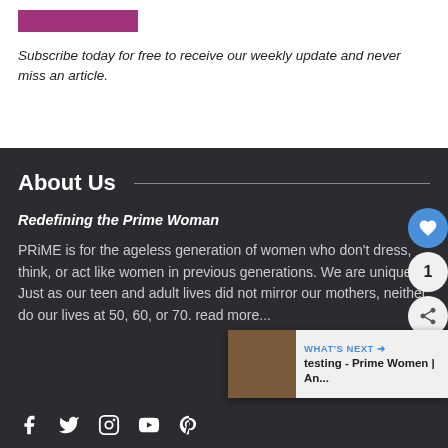[Figure (other): Purple/pink rectangular banner bar at top]
Subscribe today for free to receive our weekly update and never miss an article.
About Us
Redefining the Prime Woman
PRiME is for the ageless generation of women who don't dress, think, or act like women in previous generations. We are unique. Just as our teen and adult lives did not mirror our mothers, neither do our lives at 50, 60, or 70. read more...
[Figure (other): Social sharing UI: heart/like button (blue circle), count badge (1), share button]
[Figure (other): What's Next widget showing 'testing - Prime Women | An...' with thumbnail]
[Figure (other): Social media icons row: Facebook, Twitter, Instagram, YouTube, Pinterest]